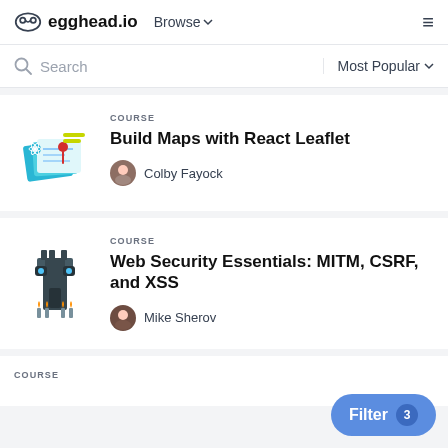egghead.io   Browse ∨   ≡
Search   Most Popular ∨
COURSE
Build Maps with React Leaflet
Colby Fayock
COURSE
Web Security Essentials: MITM, CSRF, and XSS
Mike Sherov
COURSE
Filter  3